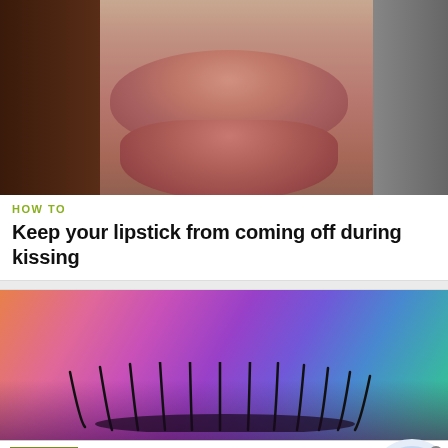[Figure (photo): Close-up photo of lips, dark brown background on sides, pink/red tones]
HOW TO
Keep your lipstick from coming off during kissing
[Figure (photo): Close-up photo of an eye with colorful rainbow eyeshadow and long black eyelashes]
[Figure (other): Advertisement banner: FR logo (olive green), 'Best Forex Brokers for profitable trading', 'Open Forex Account, receive Bonus and start earning Now', forex-ratings.com, blue circular button with arrow]